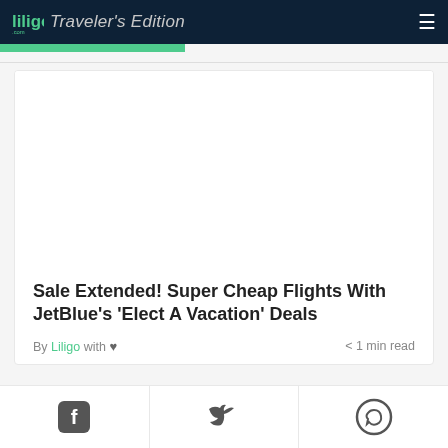liligo Traveler's Edition
[Figure (photo): White/blank image area within article card]
Sale Extended! Super Cheap Flights With JetBlue's 'Elect A Vacation' Deals
By Liligo with ♥  < 1 min read
[Figure (illustration): Social sharing row with Facebook, Twitter, and phone/WhatsApp icons]